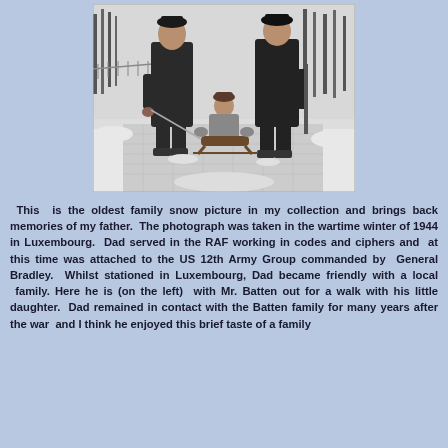[Figure (photo): Black and white photograph of two adults in dark winter coats standing in snow, with a small child seated on a sled between them. Trees and a snowy path are visible in the background. Taken in Luxembourg in winter 1944.]
This is the oldest family snow picture in my collection and brings back memories of my father. The photograph was taken in the wartime winter of 1944 in Luxembourg. Dad served in the RAF working in codes and ciphers and at this time was attached to the US 12th Army Group commanded by General Bradley. Whilst stationed in Luxembourg, Dad became friendly with a local family. Here he is (on the left) with Mr. Batten out for a walk with his little daughter. Dad remained in contact with the Batten family for many years after the war and I think he enjoyed this brief taste of a family